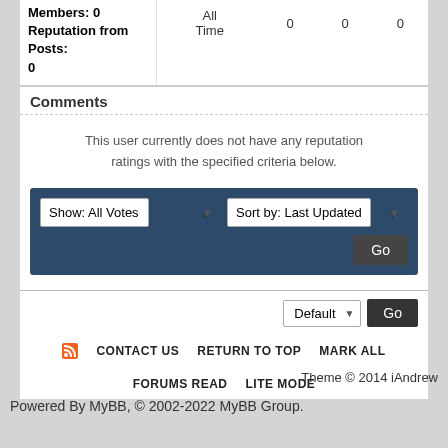Members: 0
Reputation from Posts: 0
|  |  |  |  |
| --- | --- | --- | --- |
| All Time | 0 | 0 | 0 |
Comments
This user currently does not have any reputation ratings with the specified criteria below.
Show: All Votes | Sort by: Last Updated | Go
Default | Go
RSS | CONTACT US | RETURN TO TOP | MARK ALL FORUMS READ | LITE MODE
Theme © 2014 iAndrew
Powered By MyBB, © 2002-2022 MyBB Group.